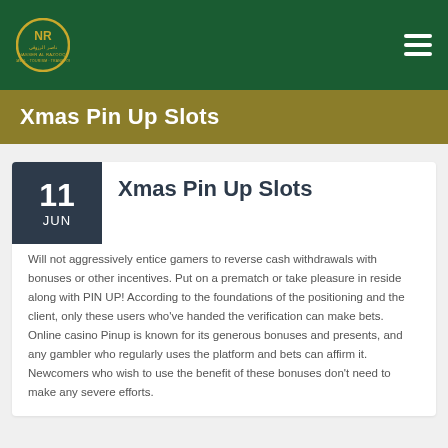Nasser Al-Razooqi Travel & Tourism Transport
Xmas Pin Up Slots
11 JUN — Xmas Pin Up Slots
Will not aggressively entice gamers to reverse cash withdrawals with bonuses or other incentives. Put on a prematch or take pleasure in reside along with PIN UP! According to the foundations of the positioning and the client, only these users who've handed the verification can make bets. Online casino Pinup is known for its generous bonuses and presents, and any gambler who regularly uses the platform and bets can affirm it. Newcomers who wish to use the benefit of these bonuses don't need to make any severe efforts.